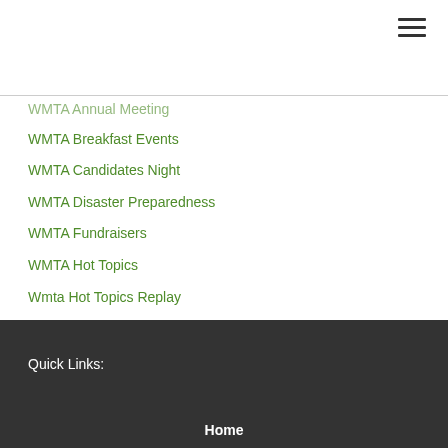☰
WMTA Annual Meeting
WMTA Breakfast Events
WMTA Candidates Night
WMTA Disaster Preparedness
WMTA Fundraisers
WMTA Hot Topics
Wmta Hot Topics Replay
WMTA Membership
WMTA PAC
WMTA Sunset Sail
WMTA Whale Watch
Quick Links:
Home